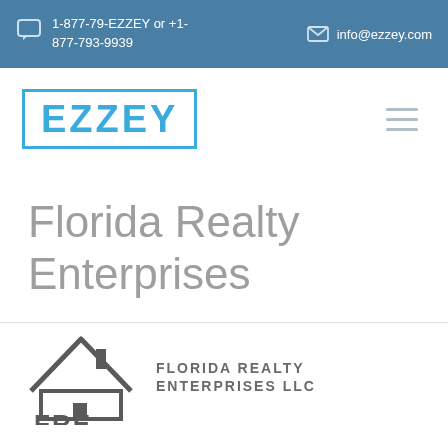1-877-79-EZZEY or +1-877-793-9939   info@ezzey.com
[Figure (logo): EZZEY logo in blue with rectangular border, and hamburger menu icon]
Florida Realty Enterprises
[Figure (logo): Florida Realty Enterprises LLC logo with house/roof icon and FRE letters]